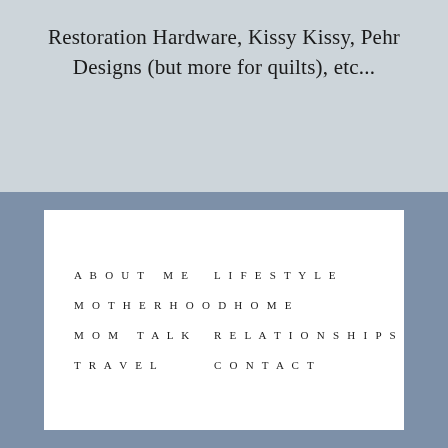Restoration Hardware, Kissy Kissy, Pehr Designs (but more for quilts), etc...
ABOUT ME
LIFESTYLE
MOTHERHOODHOME
MOM TALK
RELATIONSHIPS
TRAVEL
CONTACT